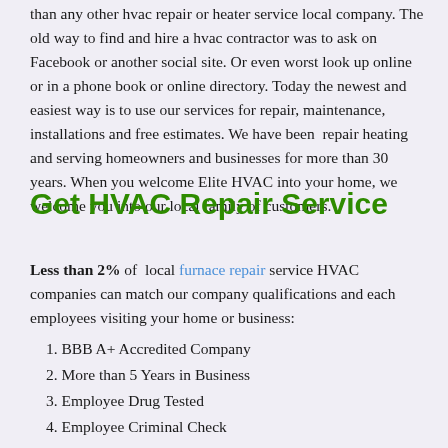than any other hvac repair or heater service local company. The old way to find and hire a hvac contractor was to ask on Facebook or another social site. Or even worst look up online or in a phone book or online directory. Today the newest and easiest way is to use our services for repair, maintenance, installations and free estimates. We have been  repair heating and serving homeowners and businesses for more than 30 years. When you welcome Elite HVAC into your home, we welcome you into our local family of customers.
Get HVAC Repair Service
Less than 2% of  local furnace repair service HVAC companies can match our company qualifications and each employees visiting your home or business:
BBB A+ Accredited Company
More than 5 Years in Business
Employee Drug Tested
Employee Criminal Check